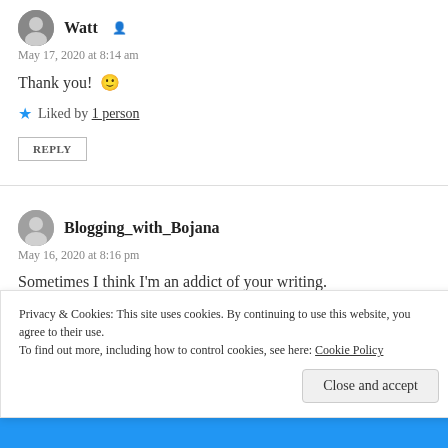Watt
May 17, 2020 at 8:14 am
Thank you! 🙂
★ Liked by 1 person
REPLY
Blogging_with_Bojana
May 16, 2020 at 8:16 pm
Sometimes I think I'm an addict of your writing.
Privacy & Cookies: This site uses cookies. By continuing to use this website, you agree to their use.
To find out more, including how to control cookies, see here: Cookie Policy
Close and accept